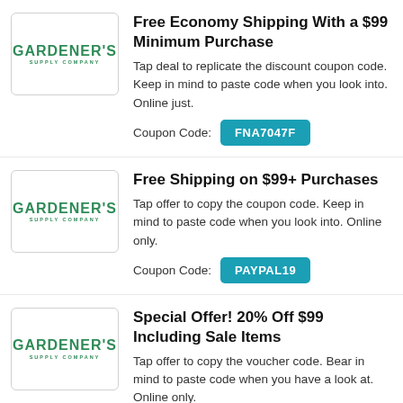[Figure (logo): Gardener's Supply Company logo - green text on white background in bordered box]
Free Economy Shipping With a $99 Minimum Purchase
Tap deal to replicate the discount coupon code. Keep in mind to paste code when you look into. Online just.
Coupon Code: FNA7047F
[Figure (logo): Gardener's Supply Company logo - green text on white background in bordered box]
Free Shipping on $99+ Purchases
Tap offer to copy the coupon code. Keep in mind to paste code when you look into. Online only.
Coupon Code: PAYPAL19
[Figure (logo): Gardener's Supply Company logo - green text on white background in bordered box]
Special Offer! 20% Off $99 Including Sale Items
Tap offer to copy the voucher code. Bear in mind to paste code when you have a look at. Online only.
Coupon Code: FNA7040D